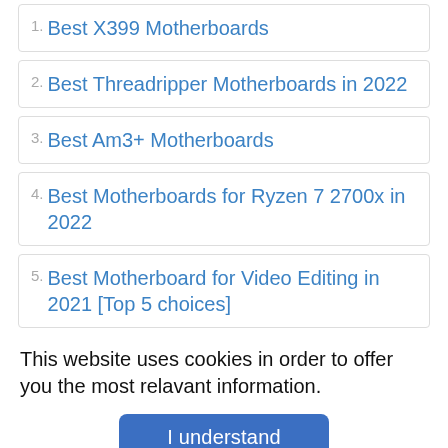1. Best X399 Motherboards
2. Best Threadripper Motherboards in 2022
3. Best Am3+ Motherboards
4. Best Motherboards for Ryzen 7 2700x in 2022
5. Best Motherboard for Video Editing in 2021 [Top 5 choices]
This website uses cookies in order to offer you the most relavant information.
I understand